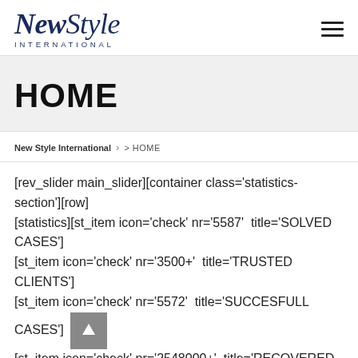NewStyle INTERNATIONAL
HOME
New Style International > HOME
[rev_slider main_slider][container class='statistics-section'][row][statistics][st_item icon='check' nr='5587'  title='SOLVED CASES'][st_item icon='check' nr='3500+'  title='TRUSTED CLIENTS'][st_item icon='check' nr='5572'  title='SUCCESFULL CASES'][st_item icon='check' nr='2548000+'  title='RECOVERED FOR OUR CLIENTS'][/statistics][tesla_practice_2 title='Recent